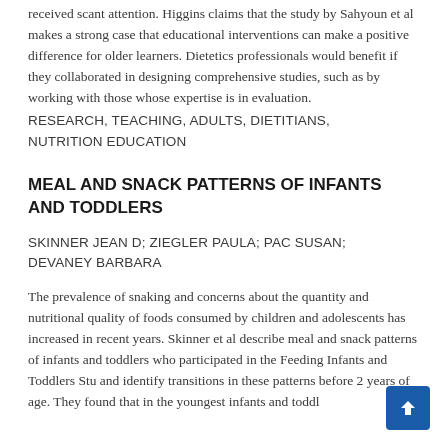received scant attention. Higgins claims that the study by Sahyoun et al makes a strong case that educational interventions can make a positive difference for older learners. Dietetics professionals would benefit if they collaborated in designing comprehensive studies, such as by working with those whose expertise is in evaluation.
RESEARCH, TEACHING, ADULTS, DIETITIANS, NUTRITION EDUCATION
MEAL AND SNACK PATTERNS OF INFANTS AND TODDLERS
SKINNER JEAN D; ZIEGLER PAULA; PAC SUSAN; DEVANEY BARBARA
The prevalence of snaking and concerns about the quantity and nutritional quality of foods consumed by children and adolescents has increased in recent years. Skinner et al describe meal and snack patterns of infants and toddlers who participated in the Feeding Infants and Toddlers Stu and identify transitions in these patterns before 2 years of age. They found that in the youngest infants and toddlers